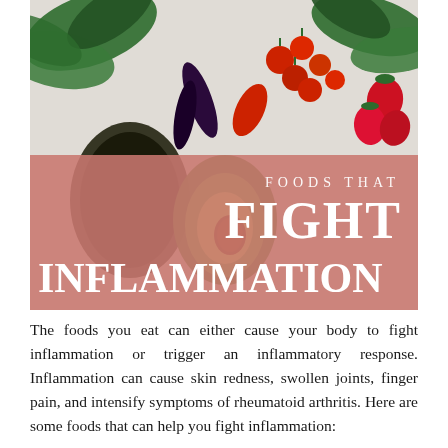[Figure (photo): Overhead photo of anti-inflammatory foods including avocado, kale, cherry tomatoes, strawberries, eggplant, and various vegetables arranged on a light surface. A pink/salmon semi-transparent overlay banner displays the title text 'FOODS THAT FIGHT INFLAMMATION' in white serif lettering.]
The foods you eat can either cause your body to fight inflammation or trigger an inflammatory response. Inflammation can cause skin redness, swollen joints, finger pain, and intensify symptoms of rheumatoid arthritis. Here are some foods that can help you fight inflammation: